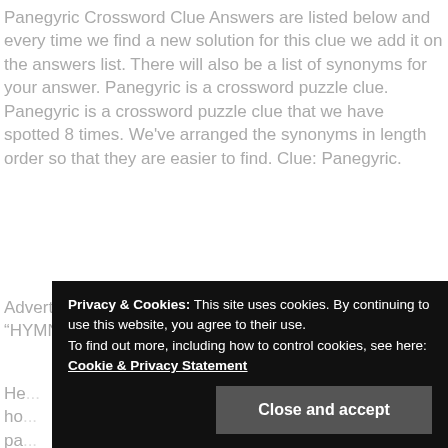Panegyric Crossword Clue Answers are listed below and every time we find a new solution for this clue we add it on the answers list. There will also be a list of synonyms for your answer. Panegyric is a crossword puzzle clue. Panegyric is a crossword puzzle clue that we have spotted 8 times. We've arranged the synonyms in length order so that they are easier to find. Clue: Panegyric.
Advertising ensures that the site free to use. “H…” will find “HYMN”.)
He... ho... pa... lo... ha... for the word if we have one.
Privacy & Cookies: This site uses cookies. By continuing to use this website, you agree to their use. To find out more, including how to control cookies, see here: Cookie & Privacy Statement